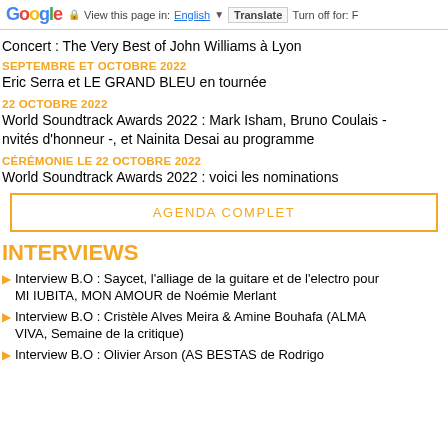Google — View this page in: English | Translate | Turn off for: F
Concert : The Very Best of John Williams à Lyon
SEPTEMBRE ET OCTOBRE 2022
Eric Serra et LE GRAND BLEU en tournée
22 OCTOBRE 2022
World Soundtrack Awards 2022 : Mark Isham, Bruno Coulais - nvités d'honneur -, et Nainita Desai au programme
CÉRÉMONIE LE 22 OCTOBRE 2022
World Soundtrack Awards 2022 : voici les nominations
AGENDA COMPLET
INTERVIEWS
Interview B.O : Saycet, l'alliage de la guitare et de l'electro pour MI IUBITA, MON AMOUR de Noémie Merlant
Interview B.O : Cristèle Alves Meira & Amine Bouhafa (ALMA VIVA, Semaine de la critique)
Interview B.O : Olivier Arson (AS BESTAS de Rodrigo